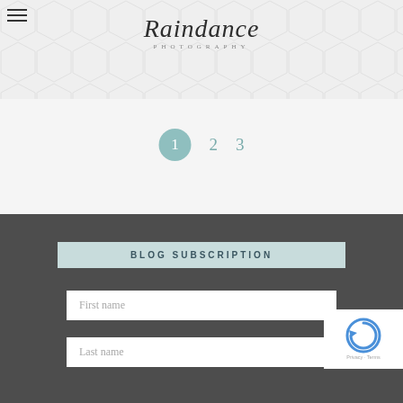[Figure (logo): Raindance Photography logo with hamburger menu icon on the left and decorative hexagonal pattern background]
Raindance PHOTOGRAPHY
1  2  3
BLOG SUBSCRIPTION
First name
Last name
[Figure (other): reCAPTCHA verification widget showing circular arrow icon and Privacy/Terms links]